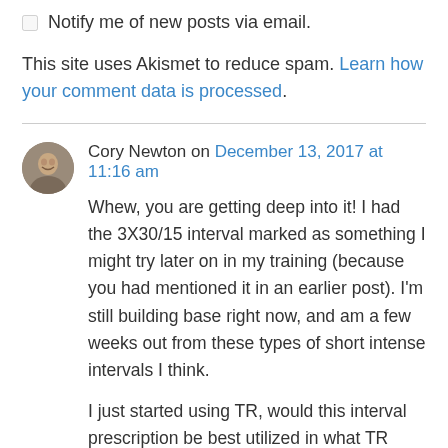☐ Notify me of new posts via email.
This site uses Akismet to reduce spam. Learn how your comment data is processed.
Cory Newton on December 13, 2017 at 11:16 am
Whew, you are getting deep into it! I had the 3X30/15 interval marked as something I might try later on in my training (because you had mentioned it in an earlier post). I'm still building base right now, and am a few weeks out from these types of short intense intervals I think.
I just started using TR, would this interval prescription be best utilized in what TR calls the Specialty phase? Close to or during race